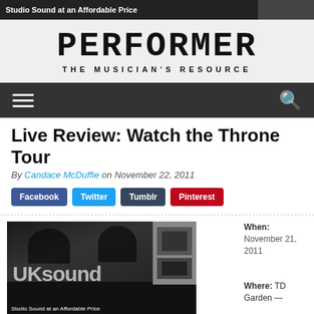Studio Sound at an Affordable Price
[Figure (logo): Performer - The Musician's Resource logo with pixelated font]
[Figure (other): Navigation bar with hamburger menu and search icon]
Live Review: Watch the Throne Tour
By Candace McDuffie on November 22, 2011
Facebook Twitter Tumblr Pinterest
[Figure (photo): Concert photo with UK sound text overlay, Studio Sound at an Affordable Price caption]
When: November 21, 2011
Where: TD Garden —